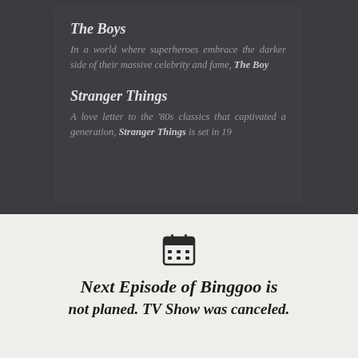The Boys
In a world where superheroes embrace the darker side of their massive celebrity and fame, The Boy
Stranger Things
A love letter to the '80s classics that captivated a generation, Stranger Things is set in 19
[Figure (infographic): Calendar icon]
Next Episode of Binggoo is
not planed. TV Show was canceled.